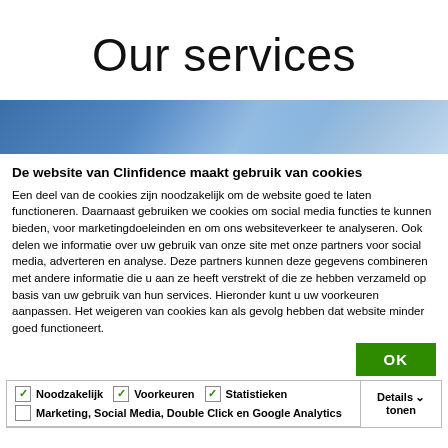Our services
[Figure (illustration): Blue gradient banner image with light reflections]
De website van Clinfidence maakt gebruik van cookies
Een deel van de cookies zijn noodzakelijk om de website goed te laten functioneren. Daarnaast gebruiken we cookies om social media functies te kunnen bieden, voor marketingdoeleinden en om ons websiteverkeer te analyseren. Ook delen we informatie over uw gebruik van onze site met onze partners voor social media, adverteren en analyse. Deze partners kunnen deze gegevens combineren met andere informatie die u aan ze heeft verstrekt of die ze hebben verzameld op basis van uw gebruik van hun services. Hieronder kunt u uw voorkeuren aanpassen. Het weigeren van cookies kan als gevolg hebben dat website minder goed functioneert.
|  |  |
| --- | --- |
| Noodzakelijk  Voorkeuren  Statistieken | Details tonen |
| Marketing, Social Media, Double Click en Google Analytics |  |